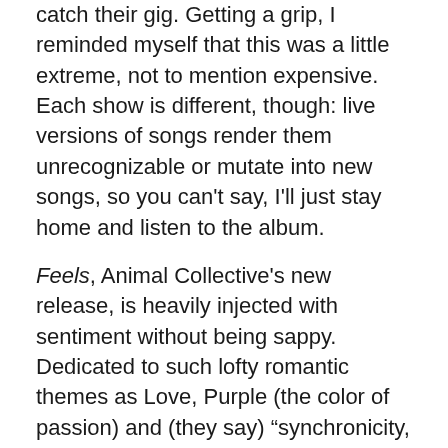catch their gig. Getting a grip, I reminded myself that this was a little extreme, not to mention expensive. Each show is different, though: live versions of songs render them unrecognizable or mutate into new songs, so you can't say, I'll just stay home and listen to the album.
Feels, Animal Collective's new release, is heavily injected with sentiment without being sappy. Dedicated to such lofty romantic themes as Love, Purple (the color of passion) and (they say) "synchronicity, or connections between people," Feels is highly emotive. As opposed to Sung Tongs' choral vocal layerings and druggy nods to Smiley Smile, Feels contains fewer vocal harmonies but compensates with an abundance of rock-out moments balanced by a "warm hum" of instruments. I can't wait to see these songs performed live, since the instrumentation on Feels is so elusive. This new record also further